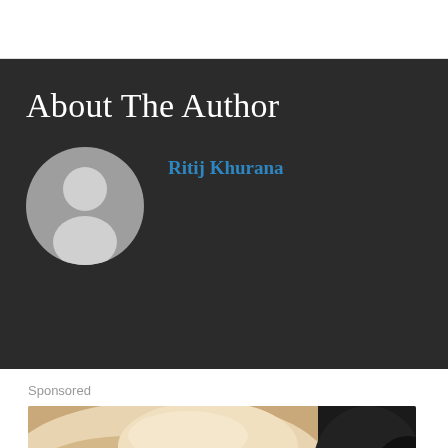About The Author
Ritij Khurana
[Figure (illustration): Circular gray avatar placeholder with silhouette of a person]
Sponsored
[Figure (photo): Close-up photo of dogs/puppies with light beige/tan fur and black fur snuggled together]